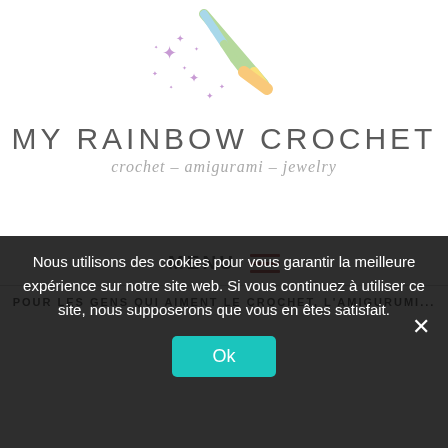[Figure (logo): Rainbow crochet hook with sparkles logo illustration]
MY RAINBOW CROCHET
crochet – amigurami – jewelry
MENU ☰
Nous utilisons des cookies pour vous garantir la meilleure expérience sur notre site web. Si vous continuez à utiliser ce site, nous supposerons que vous en êtes satisfait.
Ok